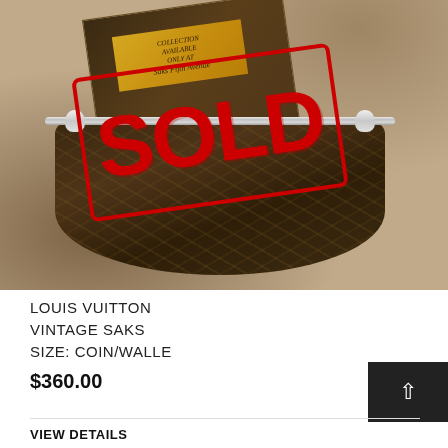[Figure (photo): Photo of a Louis Vuitton monogram coin purse/wallet with silver clasp, shown in front of an LV shopping bag on crumpled paper background. A large red SOLD stamp is overlaid diagonally across the image.]
LOUIS VUITTON VINTAGE SAKS SIZE: COIN/WALLE
$360.00
VIEW DETAILS